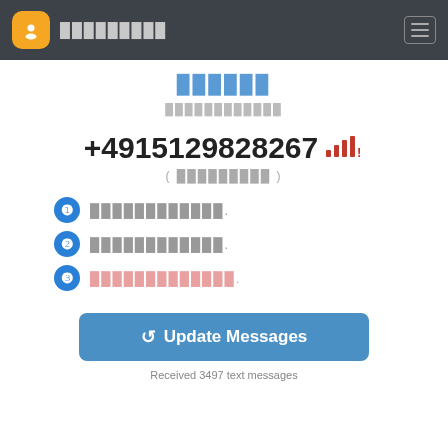█████████
██████
████████████
+4915129828267
( █████████ )
1. ████████████.
2. ████████████.
3. █████████████.
↺ Update Messages
Received 3497 text messages